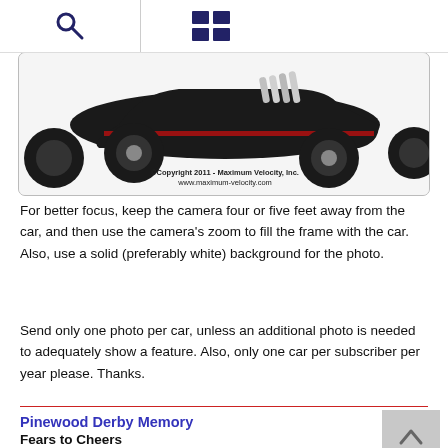[Figure (photo): Pinewood derby car - black with red stripe and chrome exhaust pipes, shown from side angle on white background. Copyright 2011 Maximum Velocity, Inc.]
For better focus, keep the camera four or five feet away from the car, and then use the camera's zoom to fill the frame with the car. Also, use a solid (preferably white) background for the photo.
Send only one photo per car, unless an additional photo is needed to adequately show a feature. Also, only one car per subscriber per year please. Thanks.
Pinewood Derby Memory
Fears to Cheers